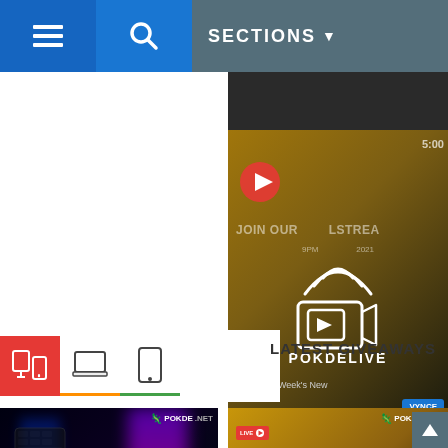SECTIONS
[Figure (screenshot): Dark video thumbnail strip at top right]
[Figure (screenshot): POKDELIVE video thumbnail with livestream camera icon overlay, text: JOIN OUR LIVESTREAM, 9PM, POKDELIVE, Week's New, VYNCE]
[Figure (screenshot): Category tabs with active red tab showing gadget icons, inactive tabs for laptop and phone]
LATEST GIVEAWAYS
[Figure (screenshot): Left card thumbnail showing RGB gaming mouse with POKDE.NET logo]
[Figure (screenshot): Right card thumbnail showing JOIN OUR LIVESTREAM with LIVE badge and POKDE.NET logo]